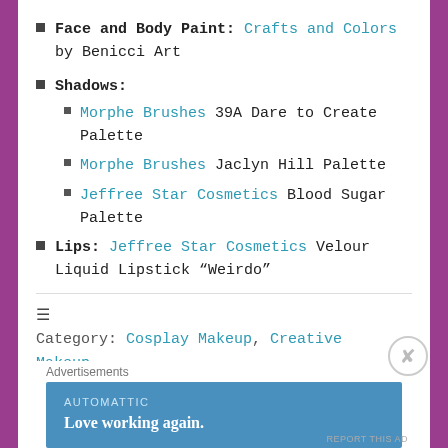Face and Body Paint: Crafts and Colors by Benicci Art
Shadows:
Morphe Brushes 39A Dare to Create Palette
Morphe Brushes Jaclyn Hill Palette
Jeffree Star Cosmetics Blood Sugar Palette
Lips: Jeffree Star Cosmetics Velour Liquid Lipstick “Weirdo”
Category: Cosplay Makeup, Creative Makeup, Halloween Makeup
Advertisements
[Figure (screenshot): Automattic advertisement banner: 'Love working again.']